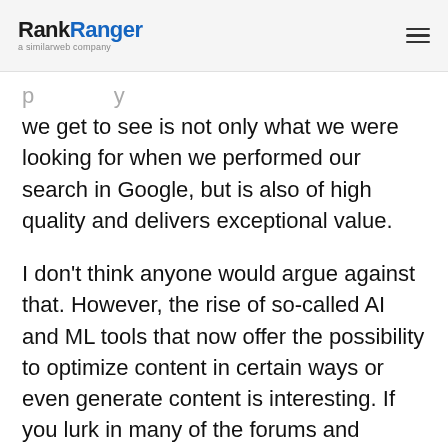RankRanger a similarweb company
we get to see is not only what we were looking for when we performed our search in Google, but is also of high quality and delivers exceptional value.

I don't think anyone would argue against that. However, the rise of so-called AI and ML tools that now offer the possibility to optimize content in certain ways or even generate content is interesting. If you lurk in many of the forums and communities you can see people discussing this technology to